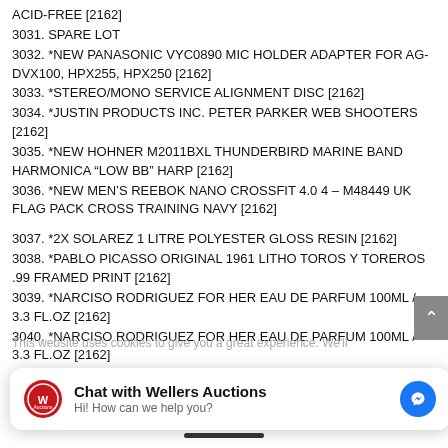ACID-FREE [2162]
3031. SPARE LOT
3032. *NEW PANASONIC VYC0890 MIC HOLDER ADAPTER FOR AG-DVX100, HPX255, HPX250 [2162]
3033. *STEREO/MONO SERVICE ALIGNMENT DISC [2162]
3034. *JUSTIN PRODUCTS INC. PETER PARKER WEB SHOOTERS [2162]
3035. *NEW HOHNER M2011BXL THUNDERBIRD MARINE BAND HARMONICA “LOW BB” HARP [2162]
3036. *NEW MEN’S REEBOK NANO CROSSFIT 4.0 4 – M48449 UK FLAG PACK CROSS TRAINING NAVY [2162]
3037. *2X SOLAREZ 1 LITRE POLYESTER GLOSS RESIN [2162]
3038. *PABLO PICASSO ORIGINAL 1961 LITHO TOROS Y TOREROS .99 FRAMED PRINT [2162]
3039. *NARCISO RODRIGUEZ FOR HER EAU DE PARFUM 100ML / 3.3 FL.OZ [2162]
3040. *NARCISO RODRIGUEZ FOR HER EAU DE PARFUM 100ML / 3.3 FL.OZ [2162]
[Figure (screenshot): Chat widget overlay: Wellers Auctions logo, 'Chat with Wellers Auctions', 'Hi! How can we help you?', Facebook Messenger icon]